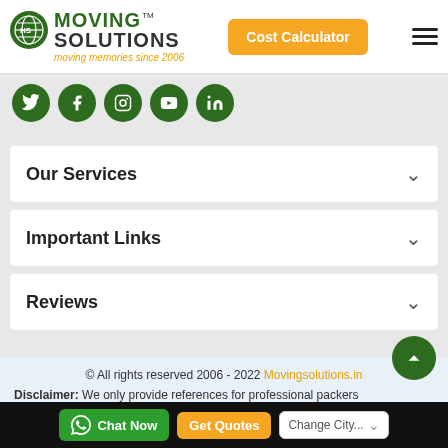[Figure (logo): Moving Solutions logo with globe icon, green text MOVING SOLUTIONS TM, orange tagline moving memories since 2006]
[Figure (other): Orange Cost Calculator button]
[Figure (other): Hamburger menu icon]
[Figure (other): Social media icons row: Twitter, Facebook, Instagram, YouTube, LinkedIn - all green circles with white icons]
Our Services
Important Links
Reviews
© All rights reserved 2006 - 2022 Movingsolutions.in
Disclaimer: We only provide references for professional packers
[Figure (other): Chat Now button, Get Quotes button, Change City... dropdown on black bar]